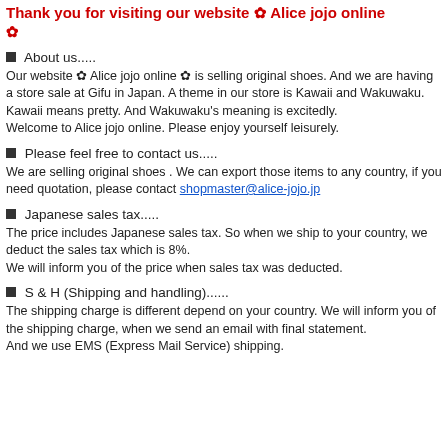Thank you for visiting our website ✿ Alice jojo online ✿
■ About us.....
Our website ✿ Alice jojo online ✿ is selling original shoes. And we are having a store sale at Gifu in Japan. A theme in our store is Kawaii and Wakuwaku. Kawaii means pretty. And Wakuwaku's meaning is excitedly.
Welcome to Alice jojo online. Please enjoy yourself leisurely.
■ Please feel free to contact us.....
We are selling original shoes . We can export those items to any country, if you need quotation, please contact shopmaster@alice-jojo.jp
■ Japanese sales tax.....
The price includes Japanese sales tax. So when we ship to your country, we deduct the sales tax which is 8%.
We will inform you of the price when sales tax was deducted.
■ S & H (Shipping and handling)......
The shipping charge is different depend on your country. We will inform you of the shipping charge, when we send an email with final statement.
And we use EMS (Express Mail Service) shipping.